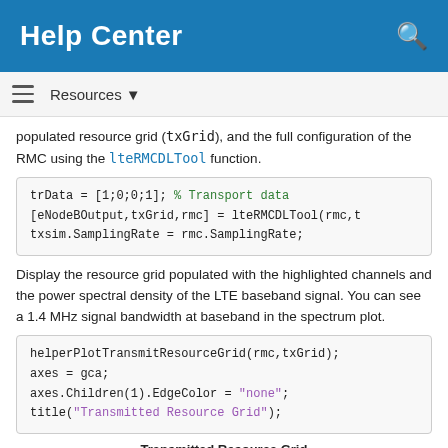Help Center
populated resource grid (txGrid), and the full configuration of the RMC using the lteRMCDLTool function.
trData = [1;0;0;1]; % Transport data
[eNodeBOutput,txGrid,rmc] = lteRMCDLTool(rmc,t
txsim.SamplingRate = rmc.SamplingRate;
Display the resource grid populated with the highlighted channels and the power spectral density of the LTE baseband signal. You can see a 1.4 MHz signal bandwidth at baseband in the spectrum plot.
helperPlotTransmitResourceGrid(rmc,txGrid);
axes = gca;
axes.Children(1).EdgeColor = "none";
title("Transmitted Resource Grid");
[Figure (other): Transmitted Resource Grid chart showing colored resource grid bars at y=70 level with a legend entry for 'unused']